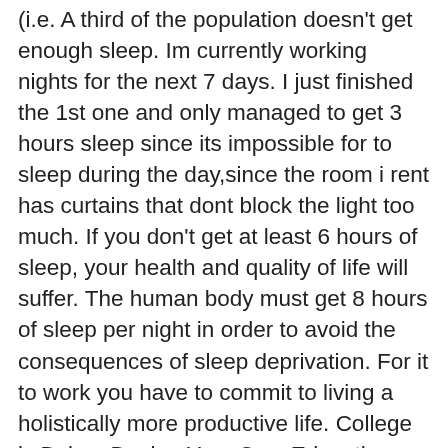(i.e. A third of the population doesn't get enough sleep. Im currently working nights for the next 7 days. I just finished the 1st one and only managed to get 3 hours sleep since its impossible for to sleep during the day,since the room i rent has curtains that dont block the light too much. If you don't get at least 6 hours of sleep, your health and quality of life will suffer. The human body must get 8 hours of sleep per night in order to avoid the consequences of sleep deprivation. For it to work you have to commit to living a holistically more productive life. College is Dying, Design Your Own Education. Buy one of those eye covers - like those they give in first class flights, according to films (I've never been in first class to be sure). This will give the commenter an Advice Point, which will show that the commenter is a helpful member of this subreddit. I start the next shift in 6 hours and had 3 hours sleep